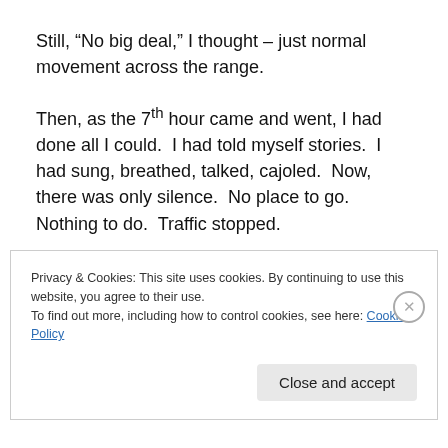Still, “No big deal,” I thought – just normal movement across the range.
Then, as the 7th hour came and went, I had done all I could.  I had told myself stories.  I had sung, breathed, talked, cajoled.  Now, there was only silence.  No place to go.  Nothing to do.  Traffic stopped.
In this suspended time and space, I could no longer pretend that I was in control.  The pace of my life, its movement, was a function of what was going on around
Privacy & Cookies: This site uses cookies. By continuing to use this website, you agree to their use.
To find out more, including how to control cookies, see here: Cookie Policy